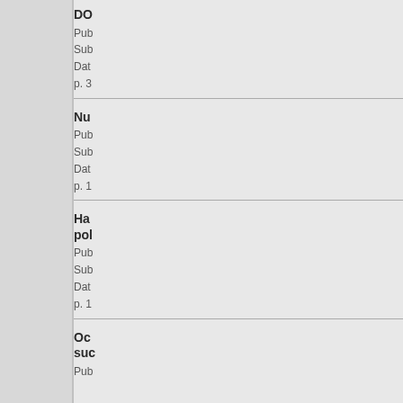DO...
Pub...
Sub...
Dat...
p. 3...
Nu...
Pub...
Sub...
Dat...
p. 1...
Ha... pol...
Pub...
Sub...
Dat...
p. 1...
Oc... suc...
Pub...